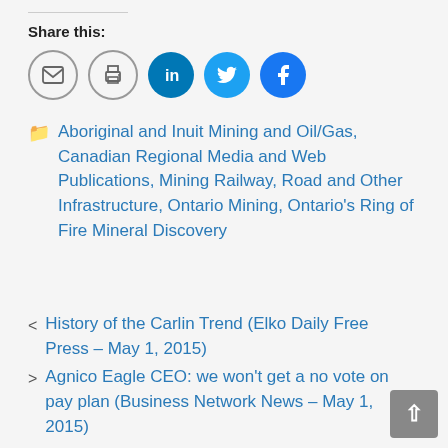Share this:
[Figure (infographic): Row of social sharing icon buttons: email (gray border), print (gray border), LinkedIn (blue), Twitter (blue), Facebook (blue)]
Aboriginal and Inuit Mining and Oil/Gas, Canadian Regional Media and Web Publications, Mining Railway, Road and Other Infrastructure, Ontario Mining, Ontario's Ring of Fire Mineral Discovery
< History of the Carlin Trend (Elko Daily Free Press – May 1, 2015)
> Agnico Eagle CEO: we won't get a no vote on pay plan (Business Network News – May 1, 2015)